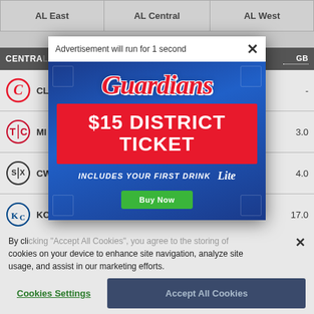| AL East | AL Central | AL West |
| --- | --- | --- |
| CENTRAL | GB |
| --- | --- |
| CL (Cleveland) | - |
| MI (Minnesota) | 3.0 |
| CW (Chicago White Sox) | 4.0 |
| KC (Kansas City) | 17.0 |
[Figure (infographic): Cleveland Guardians advertisement popup: $15 District Ticket includes your first drink (Miller Lite). Buy Now button. Blue background with red ticket box.]
By clicking... cookies on your device to enhance site navigation, analyze site usage, and assist in our marketing efforts.
Cookies Settings  Accept All Cookies